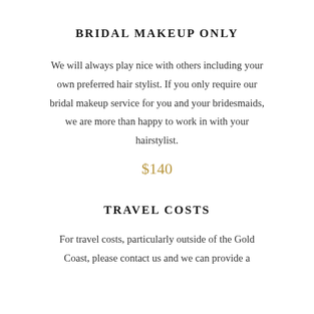BRIDAL MAKEUP ONLY
We will always play nice with others including your own preferred hair stylist. If you only require our bridal makeup service for you and your bridesmaids, we are more than happy to work in with your hairstylist.
$140
TRAVEL COSTS
For travel costs, particularly outside of the Gold Coast, please contact us and we can provide a